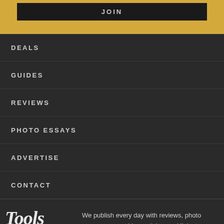JOIN
DEALS
GUIDES
REVIEWS
PHOTO ESSAYS
ADVERTISE
CONTACT
[Figure (logo): Tools & Toys logo in decorative serif italic script]
We publish every day with reviews, photo essays, gear guides, articles, and links to awesome and interesting things.